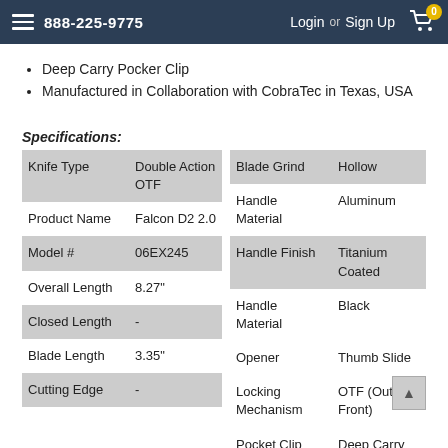888-225-9775   Login or Sign Up   Cart 0
Deep Carry Pocker Clip
Manufactured in Collaboration with CobraTec in Texas, USA
Specifications:
|  |  |  |  |
| --- | --- | --- | --- |
| Knife Type | Double Action OTF | Blade Grind | Hollow |
| Product Name | Falcon D2 2.0 | Handle Material | Aluminum |
| Model # | 06EX245 | Handle Finish | Titanium Coated |
| Overall Length | 8.27" | Handle Material | Black |
| Closed Length | - | Opener | Thumb Slide |
| Blade Length | 3.35" | Locking Mechanism | OTF (Out the Front) |
| Cutting Edge | - | Pocket Clip Type / Color | Deep Carry Black |